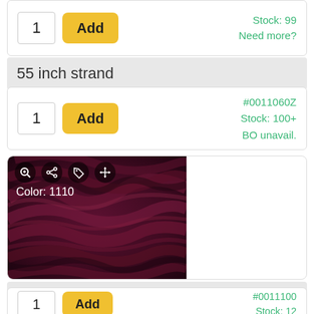1
Add
Stock: 99
Need more?
55 inch strand
1
Add
#0011060Z
Stock: 100+
BO unavail.
[Figure (photo): Close-up photo of dark burgundy/maroon chunky yarn showing texture. Overlay icons include zoom, share, tag, and move icons in top-left. Color label reads: Color: 1110]
100 g hank
1
Add
#0011100
Stock: 12